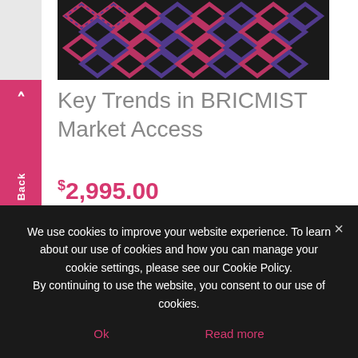[Figure (illustration): Product cover image with dark background featuring pink and purple interlocking diamond/chain pattern design]
Key Trends in BRICMIST Market Access
$2,995.00
Add to cart
Brazil, Russia, India, China, Mexico, Indonesia, South Korea, and Turkey – known collectively as the BRIC/MIST countries – have been a source of welcome growth for a pharmaceutical industry
We use cookies to improve your website experience. To learn about our use of cookies and how you can manage your cookie settings, please see our Cookie Policy.
By continuing to use the website, you consent to our use of cookies.
Ok
Read more